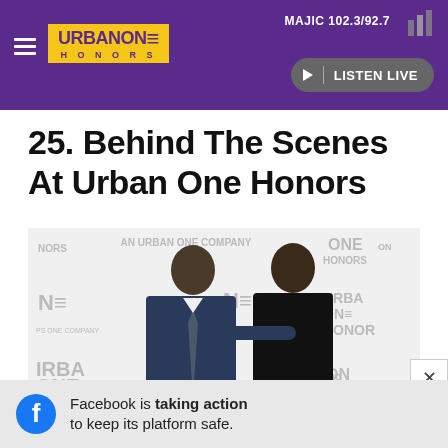MAJIC 102.3/92.7 | LISTEN LIVE — Urban One Honors
25. Behind The Scenes At Urban One Honors
[Figure (photo): Two people posing in front of an Urban One Honors step-and-repeat backdrop. A man in a navy blue suit and tie stands on the left; a woman in a black sequined outfit stands on the right. The backdrop shows repeated 'Urban One Honors', 'One Honors', 'Urban One', 'Radio ON' branding.]
Facebook is taking action to keep its platform safe.